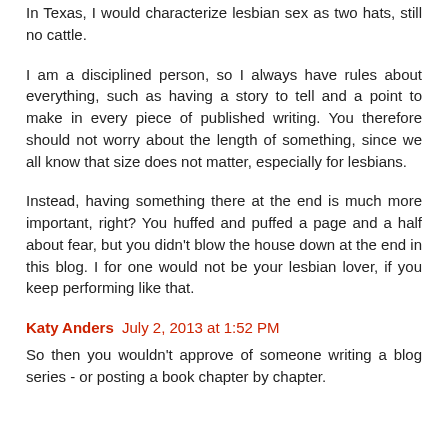In Texas, I would characterize lesbian sex as two hats, still no cattle.
I am a disciplined person, so I always have rules about everything, such as having a story to tell and a point to make in every piece of published writing. You therefore should not worry about the length of something, since we all know that size does not matter, especially for lesbians.
Instead, having something there at the end is much more important, right? You huffed and puffed a page and a half about fear, but you didn't blow the house down at the end in this blog. I for one would not be your lesbian lover, if you keep performing like that.
Katy Anders  July 2, 2013 at 1:52 PM
So then you wouldn't approve of someone writing a blog series - or posting a book chapter by chapter.